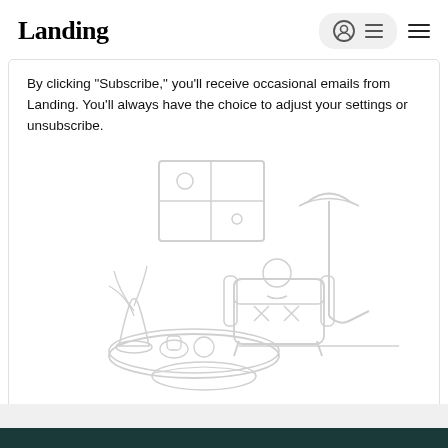Landing
By clicking "Subscribe," you'll receive occasional emails from Landing. You'll always have the choice to adjust your settings or unsubscribe.
[Figure (illustration): Line illustration of a cozy living room scene: a window with grid panes on the wall, an armchair with a person sitting in it, a floor lamp, a coffee table with items on it, and a plant/vase. Rendered in light gray outline style.]